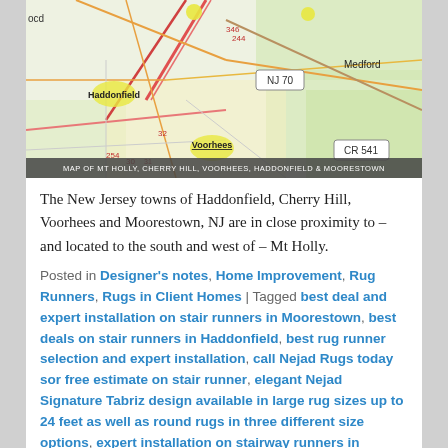[Figure (map): Map of Mt Holly, Cherry Hill, Voorhees, Haddonfield & Moorestown, NJ showing road networks and surrounding towns including Medford, with route markers NJ 70 and CR 541.]
The New Jersey towns of Haddonfield, Cherry Hill, Voorhees and Moorestown, NJ are in close proximity to – and located to the south and west of – Mt Holly.
Posted in Designer's notes, Home Improvement, Rug Runners, Rugs in Client Homes | Tagged best deal and expert installation on stair runners in Moorestown, best deals on stair runners in Haddonfield, best rug runner selection and expert installation, call Nejad Rugs today sor free estimate on stair runner, elegant Nejad Signature Tabriz design available in large rug sizes up to 24 feet as well as round rugs in three different size options, expert installation on stairway runners in Voorhees, home beautification, Home Improvement - increase in both comfort and safety, improved comfort, improved safety